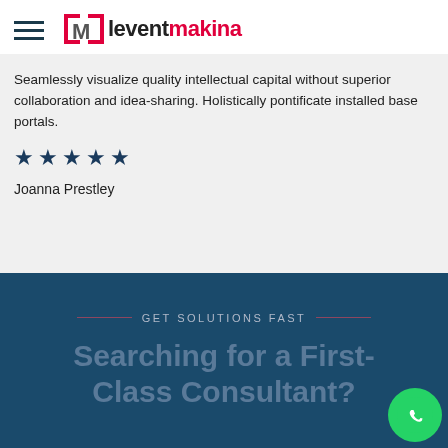[Figure (logo): Levent Makina logo with hamburger menu icon on the left and bracketed LM symbol with leventmakina text]
Seamlessly visualize quality intellectual capital without superior collaboration and idea-sharing. Holistically pontificate installed base portals.
★★★★★
Joanna Prestley
GET SOLUTIONS FAST
Searching for a First-Class Consultant?